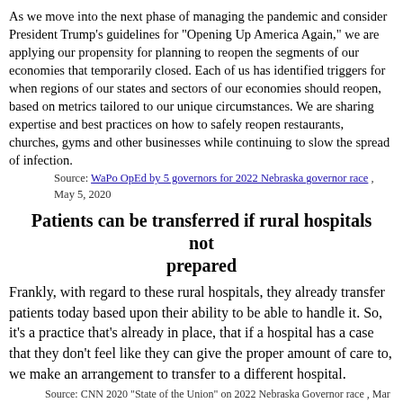As we move into the next phase of managing the pandemic and consider President Trump's guidelines for "Opening Up America Again," we are applying our propensity for planning to reopen the segments of our economies that temporarily closed. Each of us has identified triggers for when regions of our states and sectors of our economies should reopen, based on metrics tailored to our unique circumstances. We are sharing expertise and best practices on how to safely reopen restaurants, churches, gyms and other businesses while continuing to slow the spread of infection.
Source: WaPo OpEd by 5 governors for 2022 Nebraska governor race , May 5, 2020
Patients can be transferred if rural hospitals not prepared
Frankly, with regard to these rural hospitals, they already transfer patients today based upon their ability to be able to handle it. So, it's a practice that's already in place, that if a hospital has a case that they don't feel like they can give the proper amount of care to, we make an arrangement to transfer to a different hospital.
Source: CNN 2020 "State of the Union" on 2022 Nebraska Governor race , Mar 29, 2020
Cannot trust Medicaid federal matching grants
One of the biggest long-term risks we face is Medicaid expansion. We have wisely rejected Medicaid expansion 3 times in the past 3 years because it is an unreasonable risk to taxpayers. This government entitlement crowds out investments in tax relief,